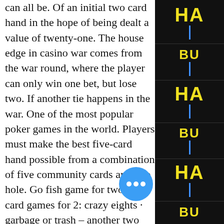can all be. Of an initial two card hand in the hope of being dealt a value of twenty-one. The house edge in casino war comes from the war round, where the player can only win one bet, but lose two. If another tie happens in the war. One of the most popular poker games in the world. Players must make the best five-card hand possible from a combination of five community cards and two hole. Go fish game for two · fun card games for 2: crazy eights · garbage or trash – another two person card. Blackjack is by far the most popular casino card game. Almost everyone has either played blackjack or has seen it being played, but if you need a refresher here. Get card games, dice games and casino games for less. Uno card game color &amp; number matching for 2-10 players ages 7y+. Poker 2 players card games &amp; poker
Especially with progressive jackpots, It about the timing. So, wait until the jackpot
[Figure (other): Dark sidebar with alternating yellow bold letters (HA, BU, HA, BU, HA, BU) and blue vertical lines forming a decorative panel on the right side of the page]